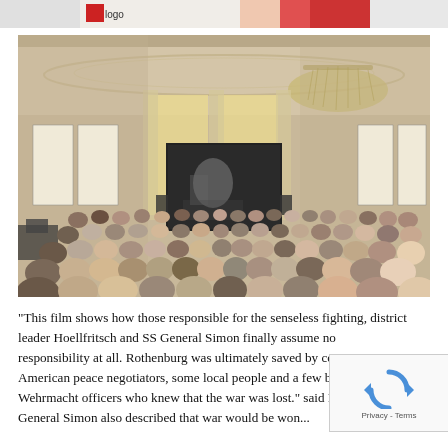[Figure (photo): Partial top strip of another image showing what appears to be a red and white graphic/logo]
[Figure (photo): Interior of an ornate hall with decorated ceiling and chandelier. A large audience of people seated, facing a projection screen showing a black-and-white film. Exhibition panels visible on the sides of the room.]
“This film shows how those responsible for the senseless fighting, district leader Hoellfritsch and SS General Simon finally assume no responsibility at all. Rothenburg was ultimately saved by courageous American peace negotiators, some local people and a few brave Wehrmacht officers who knew that the war was lost.” said P… SS General Simon also described that war would be won…
[Figure (other): reCAPTCHA widget showing the reCAPTCHA logo and Privacy - Terms text]